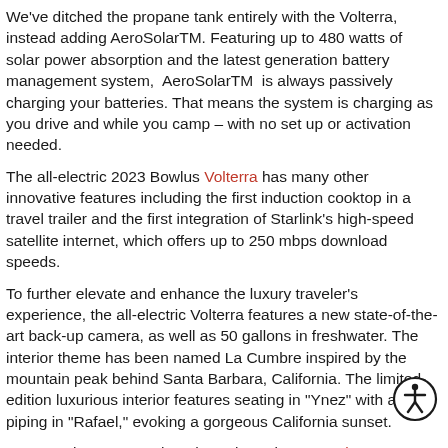We've ditched the propane tank entirely with the Volterra, instead adding AeroSolarTM. Featuring up to 480 watts of solar power absorption and the latest generation battery management system, AeroSolarTM is always passively charging your batteries. That means the system is charging as you drive and while you camp – with no set up or activation needed.
The all-electric 2023 Bowlus Volterra has many other innovative features including the first induction cooktop in a travel trailer and the first integration of Starlink's high-speed satellite internet, which offers up to 250 mbps download speeds.
To further elevate and enhance the luxury traveler's experience, the all-electric Volterra features a new state-of-the-art back-up camera, as well as 50 gallons in freshwater. The interior theme has been named La Cumbre inspired by the mountain peak behind Santa Barbara, California. The limited-edition luxurious interior features seating in "Ynez" with accent piping in "Rafael," evoking a gorgeous California sunset.
You're welcome to explore the Volterra by contacting us to set up
[Figure (illustration): Accessibility icon — a circle with a stylized human figure inside, outlined in black]